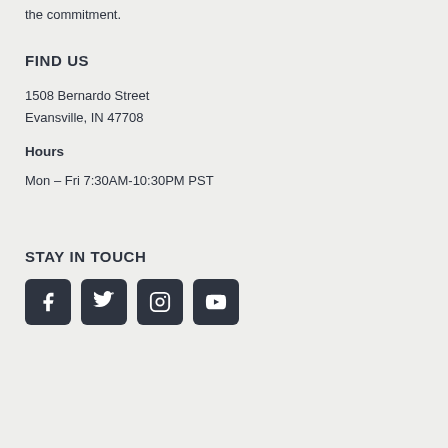the commitment.
FIND US
1508 Bernardo Street
Evansville, IN 47708
Hours
Mon – Fri 7:30AM-10:30PM PST
STAY IN TOUCH
[Figure (infographic): Four social media icons in dark rounded square buttons: Facebook, Twitter, Instagram, YouTube]